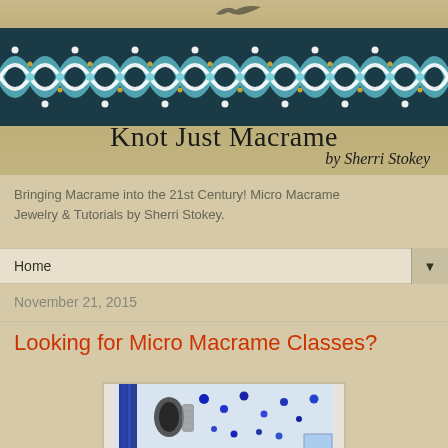[Figure (photo): Header banner of Knot Just Macrame blog showing a decorative macrame bracelet with turquoise, white, and dark blue beads in wave pattern, with site title text overlay]
Bringing Macrame into the 21st Century! Micro Macrame Jewelry & Tutorials by Sherri Stokey.
Home ▼
November 21, 2015
Looking for Micro Macrame Classes?
[Figure (photo): Photo of macrame craft materials including blue tassel, dark cord, and scattered blue beads on white background]